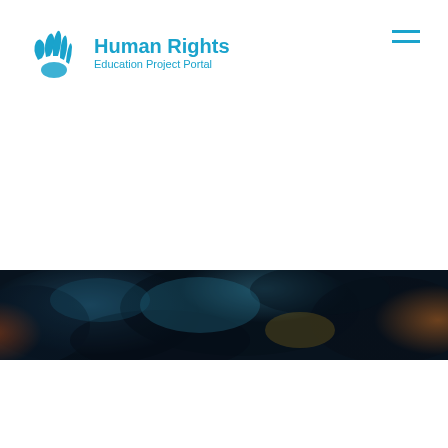[Figure (logo): Human Rights Education Project Portal logo with a blue hand/wing icon and blue text reading 'Human Rights' in bold and 'Education Project Portal' as subtitle]
[Figure (other): Hamburger menu icon with two horizontal blue lines in top right corner]
[Figure (photo): A horizontal banner image showing a dark, moody landscape or cloudscape with blues, oranges, and reds, cropped as a wide strip across the page]